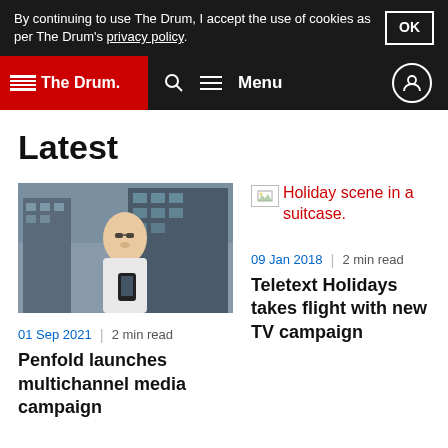By continuing to use The Drum, I accept the use of cookies as per The Drum's privacy policy.
The Drum — Menu navigation header
Latest
[Figure (photo): Man looking at phone in front of modern building]
01 Sep 2021 | 2 min read
Penfold launches multichannel media campaign
[Figure (photo): Holiday scene in a suitcase. (broken image)]
09 Jan 2018 | 2 min read
Teletext Holidays takes flight with new TV campaign